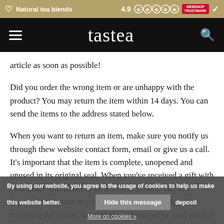Natural tea blends | 4.9 ★★★★★ | WEBSHOP TRUSTMARK
tastea
article as soon as possible!
Did you order the wrong item or are unhappy with the product? You may return the item within 14 days. You can send the items to the address stated below.
When you want to return an item, make sure you notify us through thew website contact form, email or give us a call. It's important that the item is complete, unopened and unused in its original seal. When you've received a gift with your order, this needs to be returned as well. We will deposit the amount to your account, within 14 days of receiving the return. Items that are damaged or used can not be returned